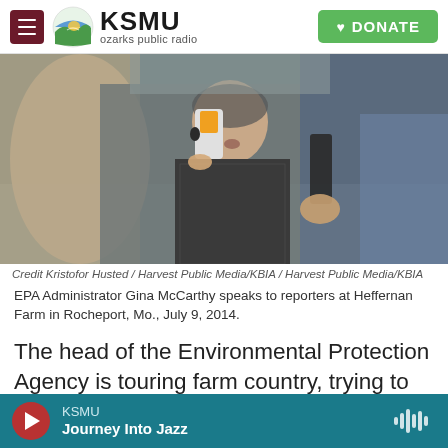KSMU ozarks public radio | DONATE
[Figure (photo): Woman being interviewed by reporters holding microphones outdoors; EPA Administrator Gina McCarthy speaking at Heffernan Farm in Rocheport, Mo., July 9, 2014.]
Credit Kristofor Husted / Harvest Public Media/KBIA  /  Harvest Public Media/KBIA
EPA Administrator Gina McCarthy speaks to reporters at Heffernan Farm in Rocheport, Mo., July 9, 2014.
The head of the Environmental Protection Agency is touring farm country, trying to assure farmers that the agency isn't asking for more authority over
KSMU  Journey Into Jazz